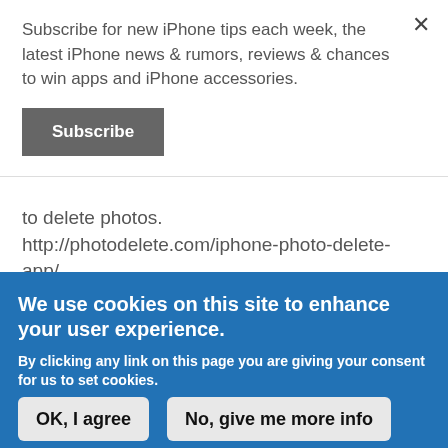Subscribe for new iPhone tips each week, the latest iPhone news & rumors, reviews & chances to win apps and iPhone accessories.
Subscribe
to delete photos. http://photodelete.com/iphone-photo-delete-app/
We use cookies on this site to enhance your user experience.
By clicking any link on this page you are giving your consent for us to set cookies.
OK, I agree
No, give me more info